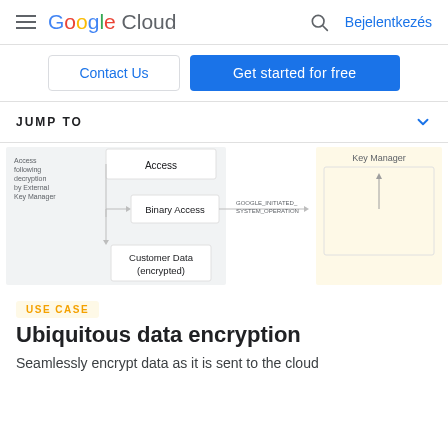Google Cloud  Bejelentkezés
Contact Us  Get started for free
JUMP TO
[Figure (flowchart): Diagram showing Access following decryption by External Key Manager, with Binary Access and Customer Data (encrypted) boxes connected by arrows, and GOOGLE_INITIATED_SYSTEM_OPERATION label leading to Key Manager box on right]
USE CASE
Ubiquitous data encryption
Seamlessly encrypt data as it is sent to the cloud